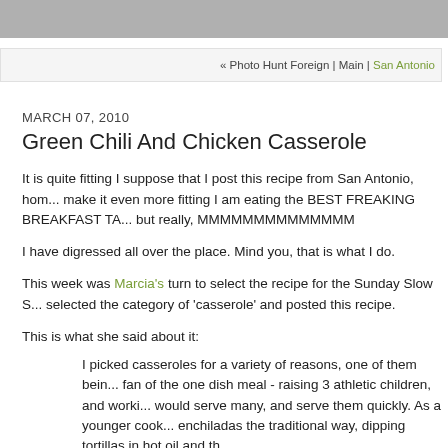« Photo Hunt Foreign | Main | San Antonio
MARCH 07, 2010
Green Chili And Chicken Casserole
It is quite fitting I suppose that I post this recipe from San Antonio, home... make it even more fitting I am eating the BEST FREAKING BREAKFAST TA... but really, MMMMMMMMMMMMMM
I have digressed all over the place. Mind you, that is what I do.
This week was Marcia's turn to select the recipe for the Sunday Slow S... selected the category of 'casserole' and posted this recipe.
This is what she said about it:
I picked casseroles for a variety of reasons, one of them being... fan of the one dish meal - raising 3 athletic children, and worki... would serve many, and serve them quickly. As a younger cook... enchiladas the traditional way, dipping tortillas in hot oil and th...